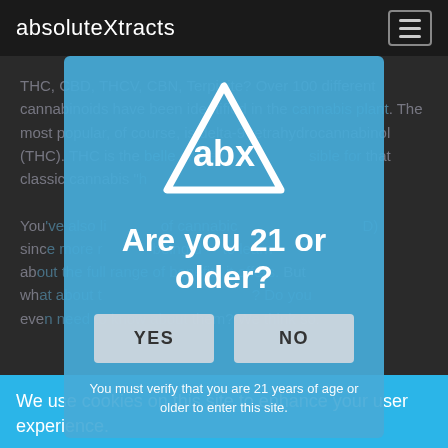absoluteXtracts
THC, CBD, THCV, CBN, Terpinite? Over 100 different cannabinoids have been identified in the cannabis plant. The most popular, of course, is delta-9-tetrahydrocannabinol (THC). THC is the belle of the ball and responsible for that classic cannabis "high."

You've also likely heard of cannabidiol (or CBD) since more research is being done to learn about the full range of benefits it offers. But what about the others? Do you even need to know about them? We think so.
[Figure (logo): ABX triangle logo with 'abx' text inside]
Are you 21 or older?
YES
NO
You must verify that you are 21 years of age or older to enter this site.
We use cookies on this site to enhance your user experience.